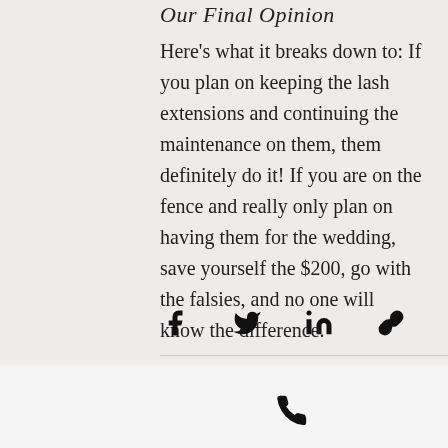Our Final Opinion
Here's what it breaks down to: If you plan on keeping the lash extensions and continuing the maintenance on them, them definitely do it! If you are on the fence and really only plan on having them for the wedding, save yourself the $200, go with the falsies, and no one will know the difference.
[Figure (infographic): Social sharing icons: Facebook, Twitter, LinkedIn, and a link/copy icon arranged horizontally]
Recent Posts
See All
[Figure (infographic): Bottom navigation bar with phone icon and email/envelope icon]